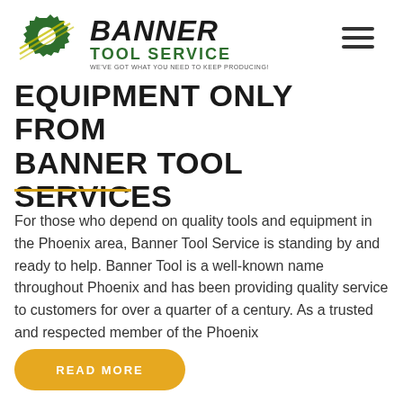[Figure (logo): Banner Tool Service logo with green gear icon, italic BANNER text, green TOOL SERVICE text, and tagline WE'VE GOT WHAT YOU NEED TO KEEP PRODUCING!]
EQUIPMENT ONLY FROM BANNER TOOL SERVICES
For those who depend on quality tools and equipment in the Phoenix area, Banner Tool Service is standing by and ready to help. Banner Tool is a well-known name throughout Phoenix and has been providing quality service to customers for over a quarter of a century. As a trusted and respected member of the Phoenix
[Figure (other): READ MORE button — yellow/gold pill-shaped button with white bold text READ MORE]